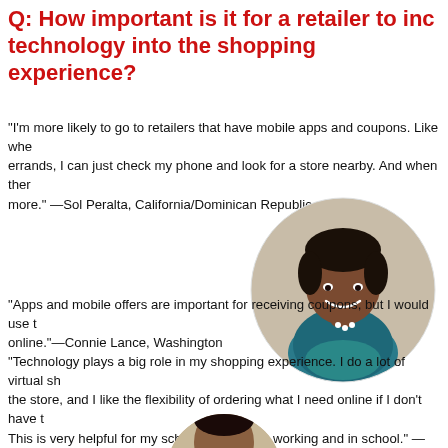Q: How important is it for a retailer to incorporate technology into the shopping experience?
“I’m more likely to go to retailers that have mobile apps and coupons. Like when I’m running errands, I can just check my phone and look for a store nearby. And when there’s coupons, I buy more.” —Sol Peralta, California/Dominican Republic
[Figure (photo): Circular portrait photo of a young woman smiling, wearing a blue patterned sleeveless top, photographed in a store setting.]
“Apps and mobile offers are important for receiving coupons, but I would use them more if I could order online.”—Connie Lance, Washington
“Technology plays a big role in my shopping experience. I do a lot of virtual shopping before going to the store, and I like the flexibility of ordering what I need online if I don’t have time to go to the store. This is very helpful for my schedule since I’m working and in school.” —Tyler M
[Figure (photo): Circular portrait photo of a man, partially visible at bottom of page.]